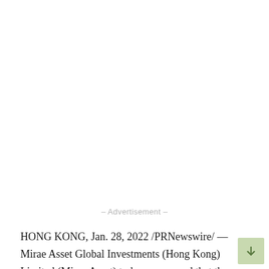- Advertisement -
HONG KONG, Jan. 28, 2022 /PRNewswire/ — Mirae Asset Global Investments (Hong Kong) Limited (Mirae Asset) today announced that the Company has reaffirmed its commitments to